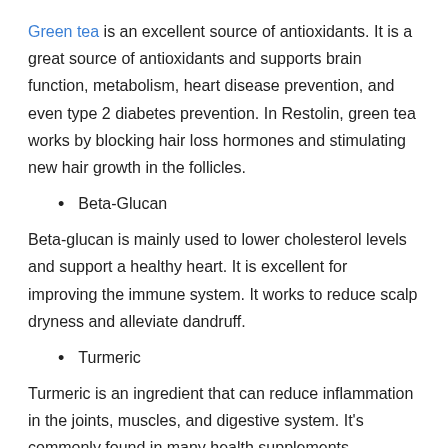Green tea is an excellent source of antioxidants. It is a great source of antioxidants and supports brain function, metabolism, heart disease prevention, and even type 2 diabetes prevention. In Restolin, green tea works by blocking hair loss hormones and stimulating new hair growth in the follicles.
Beta-Glucan
Beta-glucan is mainly used to lower cholesterol levels and support a healthy heart. It is excellent for improving the immune system. It works to reduce scalp dryness and alleviate dandruff.
Turmeric
Turmeric is an ingredient that can reduce inflammation in the joints, muscles, and digestive system. It's commonly found in many health supplements. Turmeric is used for invigorating the scalp while being...